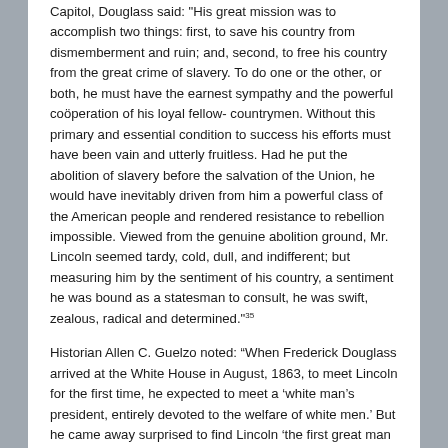Capitol, Douglass said: 'His great mission was to accomplish two things: first, to save his country from dismemberment and ruin; and, second, to free his country from the great crime of slavery. To do one or the other, or both, he must have the earnest sympathy and the powerful coöperation of his loyal fellow- countrymen. Without this primary and essential condition to success his efforts must have been vain and utterly fruitless. Had he put the abolition of slavery before the salvation of the Union, he would have inevitably driven from him a powerful class of the American people and rendered resistance to rebellion impossible. Viewed from the genuine abolition ground, Mr. Lincoln seemed tardy, cold, dull, and indifferent; but measuring him by the sentiment of his country, a sentiment he was bound as a statesman to consult, he was swift, zealous, radical and determined."35
Historian Allen C. Guelzo noted: “When Frederick Douglass arrived at the White House in August, 1863, to meet Lincoln for the first time, he expected to meet a ‘white man’s president, entirely devoted to the welfare of white men.’ But he came away surprised to find Lincoln ‘the first great man that I talked with in the United States freely who in no single instance reminded me of the difference between himself and myself, or the difference of color.’ The reason, Douglass surmised, was ‘because of the similarity with which I had fought my way up, we